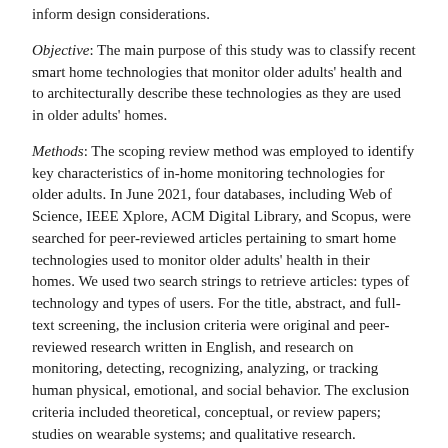inform design considerations.
Objective: The main purpose of this study was to classify recent smart home technologies that monitor older adults' health and to architecturally describe these technologies as they are used in older adults' homes.
Methods: The scoping review method was employed to identify key characteristics of in-home monitoring technologies for older adults. In June 2021, four databases, including Web of Science, IEEE Xplore, ACM Digital Library, and Scopus, were searched for peer-reviewed articles pertaining to smart home technologies used to monitor older adults' health in their homes. We used two search strings to retrieve articles: types of technology and types of users. For the title, abstract, and full-text screening, the inclusion criteria were original and peer-reviewed research written in English, and research on monitoring, detecting, recognizing, analyzing, or tracking human physical, emotional, and social behavior. The exclusion criteria included theoretical, conceptual, or review papers; studies on wearable systems; and qualitative research.
Results: This scoping review identified 30 studies published between June 2016 and 2021 providing overviews of in-home